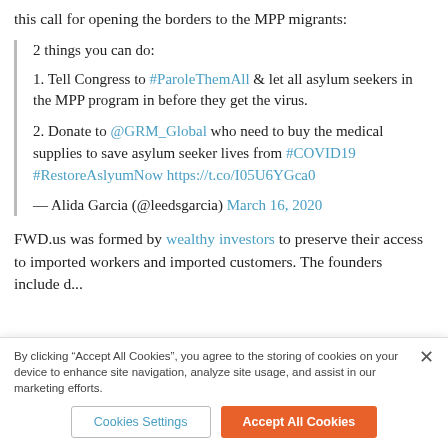this call for opening the borders to the MPP migrants:
2 things you can do:
1. Tell Congress to #ParoleThemAll & let all asylum seekers in the MPP program in before they get the virus.
2. Donate to @GRM_Global who need to buy the medical supplies to save asylum seeker lives from #COVID19 #RestoreAslyumNow https://t.co/I05U6YGca0
— Alida Garcia (@leedsgarcia) March 16, 2020
FWD.us was formed by wealthy investors to preserve their access to imported workers and imported customers. The founders include...
By clicking “Accept All Cookies”, you agree to the storing of cookies on your device to enhance site navigation, analyze site usage, and assist in our marketing efforts.